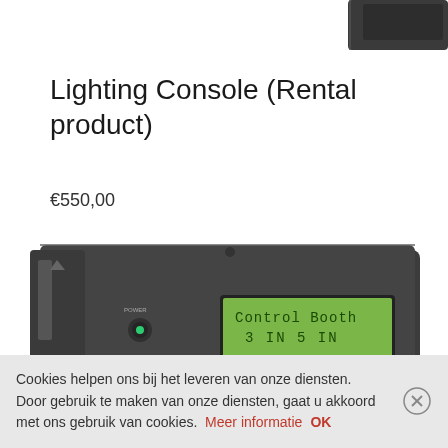[Figure (photo): Partial view of a dark grey lighting console device, top-right corner, showing edge of hardware]
Lighting Console (Rental product)
€550,00
[Figure (photo): Close-up photo of a dark grey lighting console device showing a green LCD display reading 'Control Booth 3 IN  5 IN', a power button with green LED indicator, and several XLR connectors along the bottom edge]
Cookies helpen ons bij het leveren van onze diensten. Door gebruik te maken van onze diensten, gaat u akkoord met ons gebruik van cookies. Meer informatie  OK